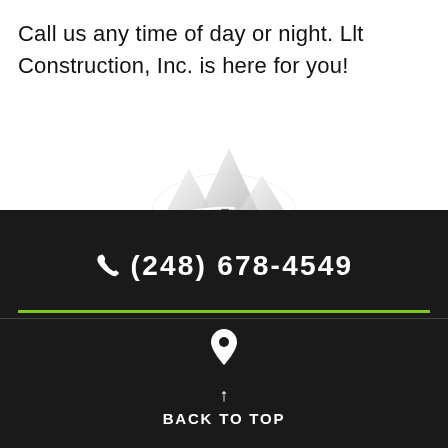Call us any time of day or night. Llt Construction, Inc. is here for you!
[Figure (logo): LLT Construction Inc. logo showing mountain peaks with small square windows and an orbital ring swoosh around them, rendered in white/gray tones]
(248) 678-4549
[Figure (other): Location pin icon in white]
BACK TO TOP